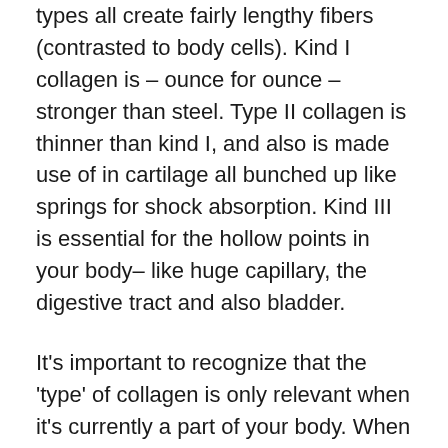types all create fairly lengthy fibers (contrasted to body cells). Kind I collagen is – ounce for ounce – stronger than steel. Type II collagen is thinner than kind I, and also is made use of in cartilage all bunched up like springs for shock absorption. Kind III is essential for the hollow points in your body– like huge capillary, the digestive tract and also bladder.
It's important to recognize that the 'type' of collagen is only relevant when it's currently a part of your body. When you consume it, your body simply re-makes it into brand-new kinds.
Collagen is so big as well as difficult that we can not absorb it 'as is' when we eat it. What